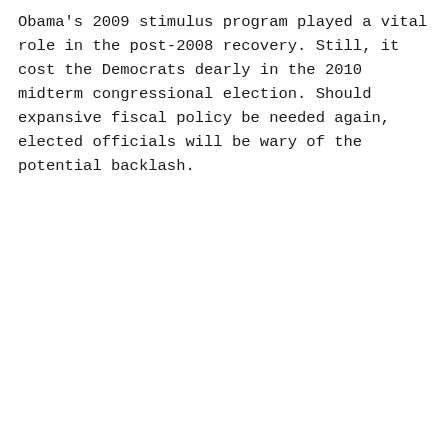Obama's 2009 stimulus program played a vital role in the post-2008 recovery. Still, it cost the Democrats dearly in the 2010 midterm congressional election. Should expansive fiscal policy be needed again, elected officials will be wary of the potential backlash.